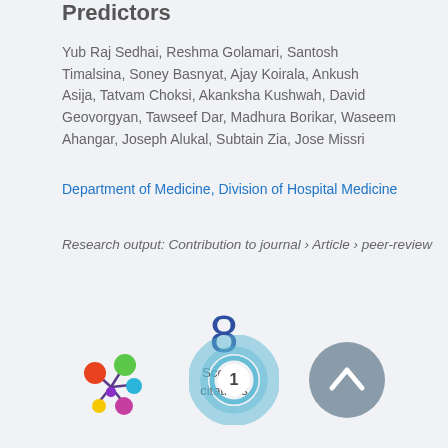Predictors
Yub Raj Sedhai, Reshma Golamari, Santosh Timalsina, Soney Basnyat, Ajay Koirala, Ankush Asija, Tatvam Choksi, Akanksha Kushwah, David Geovorgyan, Tawseef Dar, Madhura Borikar, Waseem Ahangar, Joseph Alukal, Subtain Zia, Jose Missri
Department of Medicine, Division of Hospital Medicine
Research output: Contribution to journal › Article › peer-review
8
Scopus
citations
[Figure (infographic): Altmetric flower icon with colored circles]
[Figure (infographic): Citation donut ring showing number 1]
[Figure (infographic): Gray circle with upward arrow (scroll to top button)]